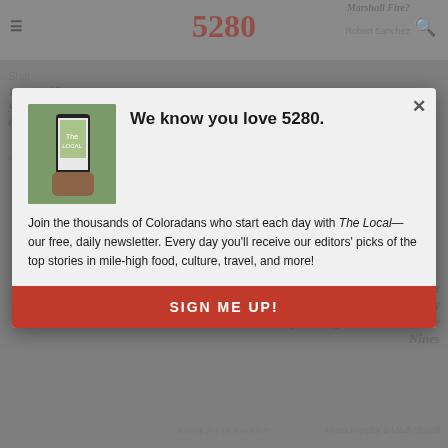5280
Marshall Fire? Robert Sanchez
[Figure (screenshot): Background dimmed page content showing article thumbnails and titles for 5280 magazine website]
We know you love 5280.
[Figure (photo): Hand holding a phone showing The Local newsletter app screen]
Join the thousands of Coloradans who start each day with The Local—our free, daily newsletter. Every day you'll receive our editors' picks of the top stories in mile-high food, culture, travel, and more!
SIGN ME UP!